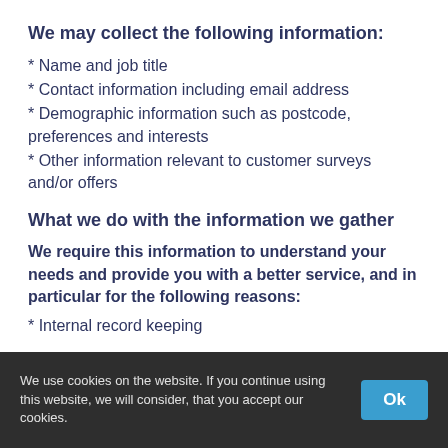We may collect the following information:
* Name and job title
* Contact information including email address
* Demographic information such as postcode, preferences and interests
* Other information relevant to customer surveys and/or offers
What we do with the information we gather
We require this information to understand your needs and provide you with a better service, and in particular for the following reasons:
* Internal record keeping
We use cookies on the website. If you continue using this website, we will consider, that you accept our cookies.